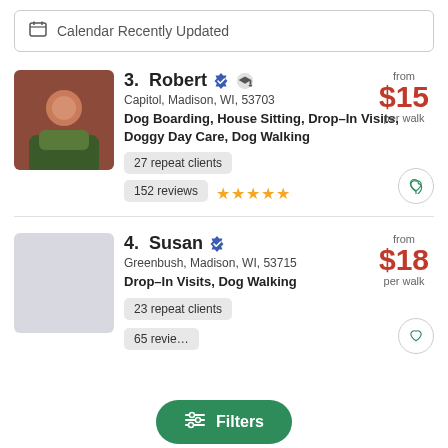Calendar Recently Updated
3. Robert — Capitol, Madison, WI, 53703 — Dog Boarding, House Sitting, Drop-In Visits, Doggy Day Care, Dog Walking — 27 repeat clients — 152 reviews — from $15 per walk
4. Susan — Greenbush, Madison, WI, 53715 — Drop-In Visits, Dog Walking — 23 repeat clients — 65 reviews — from $18 per walk
Filters